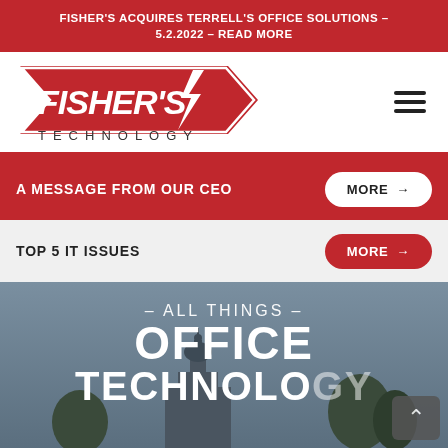FISHER'S ACQUIRES TERRELL'S OFFICE SOLUTIONS – 5.2.2022 – READ MORE
[Figure (logo): Fisher's Technology logo — red arrow-shaped chevron badge with 'FISHER'S' in white bold italic text and a lightning bolt, with 'TECHNOLOGY' in spaced caps below]
A MESSAGE FROM OUR CEO
TOP 5 IT ISSUES
[Figure (photo): Hero banner with a building dome/cupola silhouette against a grey-blue sky, overlaid with text '- ALL THINGS - OFFICE TECHNOLOGY']
- ALL THINGS - OFFICE TECHNOLOGY